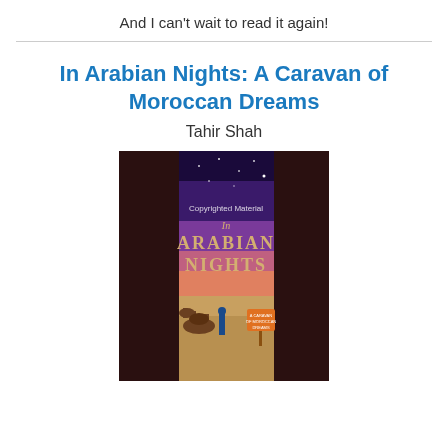And I can't wait to read it again!
In Arabian Nights: A Caravan of Moroccan Dreams
Tahir Shah
[Figure (photo): Book cover of 'In Arabian Nights: A Caravan of Moroccan Dreams' by Tahir Shah, showing a night desert scene with camels and a person in blue robes, viewed through a tent opening, with a starry purple sky and a sign reading 'A Caravan of Moroccan Dreams'.]